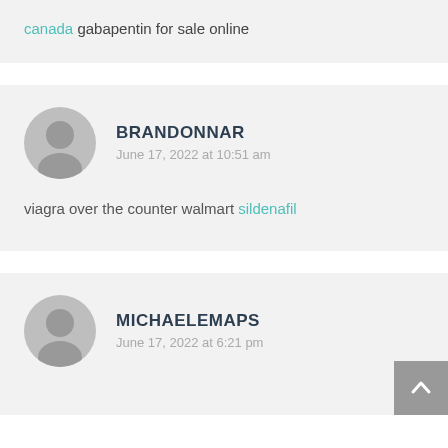canada gabapentin for sale online
BRANDONNAR
June 17, 2022 at 10:51 am
viagra over the counter walmart sildenafil
MICHAELEMAPS
June 17, 2022 at 6:21 pm